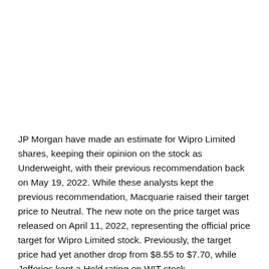JP Morgan have made an estimate for Wipro Limited shares, keeping their opinion on the stock as Underweight, with their previous recommendation back on May 19, 2022. While these analysts kept the previous recommendation, Macquarie raised their target price to Neutral. The new note on the price target was released on April 11, 2022, representing the official price target for Wipro Limited stock. Previously, the target price had yet another drop from $8.55 to $7.70, while Jefferies kept a Hold rating on WIT stock.